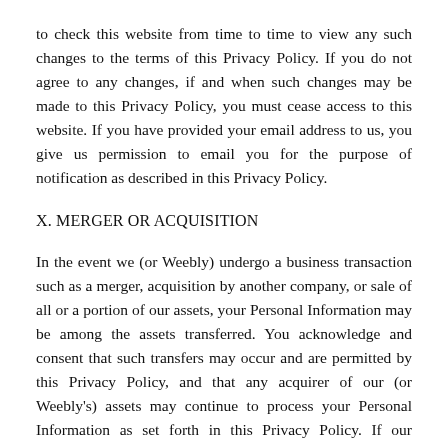to check this website from time to time to view any such changes to the terms of this Privacy Policy. If you do not agree to any changes, if and when such changes may be made to this Privacy Policy, you must cease access to this website. If you have provided your email address to us, you give us permission to email you for the purpose of notification as described in this Privacy Policy.
X. MERGER OR ACQUISITION
In the event we (or Weebly) undergo a business transaction such as a merger, acquisition by another company, or sale of all or a portion of our assets, your Personal Information may be among the assets transferred. You acknowledge and consent that such transfers may occur and are permitted by this Privacy Policy, and that any acquirer of our (or Weebly's) assets may continue to process your Personal Information as set forth in this Privacy Policy. If our information practices change at any time in the future, we will post the policy